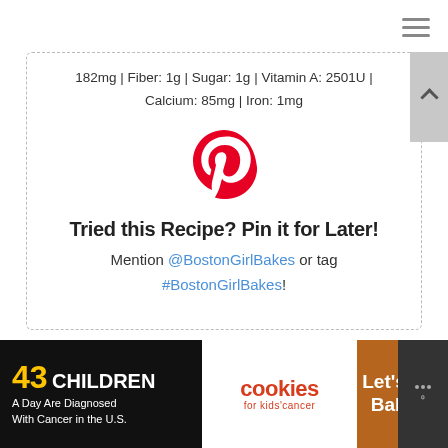182mg | Fiber: 1g | Sugar: 1g | Vitamin A: 2501U | Calcium: 85mg | Iron: 1mg
[Figure (logo): Pinterest logo — red stylized P]
Tried this Recipe? Pin it for Later!
Mention @BostonGirlBakes or tag #BostonGirlBakes!
[Figure (infographic): Advertisement banner: '43 CHILDREN A Day Are Diagnosed With Cancer in the U.S.' with cookies for kids cancer logo and 'Let's Get Baking' text]